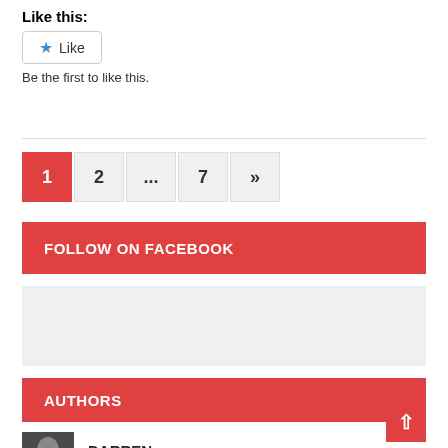Like this:
[Figure (screenshot): Like button widget with blue star icon and 'Like' text in a rounded rectangle border]
Be the first to like this.
[Figure (other): Pagination bar with pages: 1 (active, red), 2, ..., 7, »]
FOLLOW ON FACEBOOK
[Figure (other): Grey placeholder box (ad or widget area)]
AUTHORS
DARREN published 561 articles